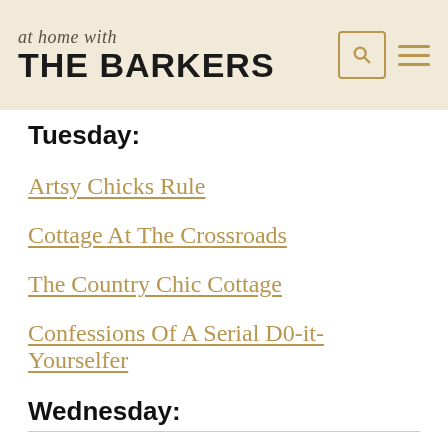at home with THE BARKERS
Tuesday:
Artsy Chicks Rule
Cottage At The Crossroads
The Country Chic Cottage
Confessions Of A Serial D0-it-Yourselfer
Wednesday: